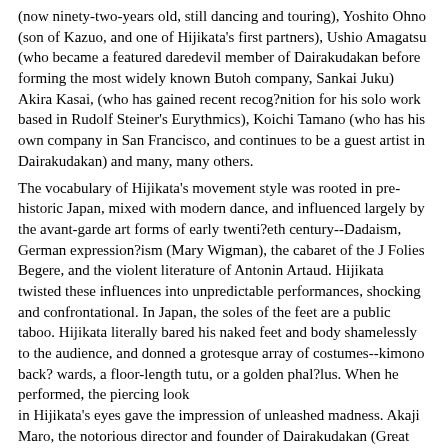(now ninety-two-years old, still dancing and touring), Yoshito Ohno (son of Kazuo, and one of Hijikata's first partners), Ushio Amagatsu (who became a featured daredevil member of Dairakudakan before forming the most widely known Butoh company, Sankai Juku) Akira Kasai, (who has gained recent recog?nition for his solo work based in Rudolf Steiner's Eurythmics), Koichi Tamano (who has his own company in San Francisco, and continues to be a guest artist in Dairakudakan) and many, many others.
The vocabulary of Hijikata's movement style was rooted in pre-historic Japan, mixed with modern dance, and influenced largely by the avant-garde art forms of early twenti?eth century--Dadaism, German expression?ism (Mary Wigman), the cabaret of the J Folies Begere, and the violent literature of Antonin Artaud. Hijikata twisted these influences into unpredictable performances, shocking and confrontational. In Japan, the soles of the feet are a public taboo. Hijikata literally bared his naked feet and body shamelessly to the audience, and donned a grotesque array of costumes--kimono back?wards, a floor-length tutu, or a golden phal?lus. When he performed, the piercing look in Hijikata's eyes gave the impression of unleashed madness. Akaji Maro, the notorious director and founder of Dairakudakan (Great Camel Battleship), was primarily an actor